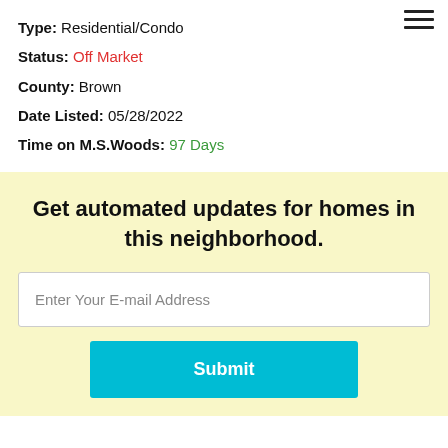Type: Residential/Condo
Status: Off Market
County: Brown
Date Listed: 05/28/2022
Time on M.S.Woods: 97 Days
Get automated updates for homes in this neighborhood.
Enter Your E-mail Address
Submit